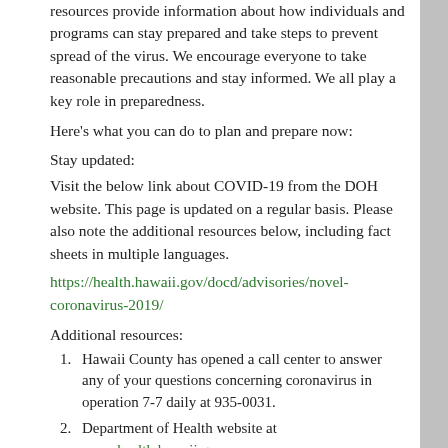resources provide information about how individuals and programs can stay prepared and take steps to prevent spread of the virus. We encourage everyone to take reasonable precautions and stay informed. We all play a key role in preparedness.
Here's what you can do to plan and prepare now:
Stay updated:
Visit the below link about COVID-19 from the DOH website. This page is updated on a regular basis. Please also note the additional resources below, including fact sheets in multiple languages.
https://health.hawaii.gov/docd/advisories/novel-coronavirus-2019/
Additional resources:
1. Hawaii County has opened a call center to answer any of your questions concerning coronavirus in operation 7-7 daily at 935-0031.
2. Department of Health website at www.health.hawaii.gov or;
3. The Centers for Disease Control and Prevention